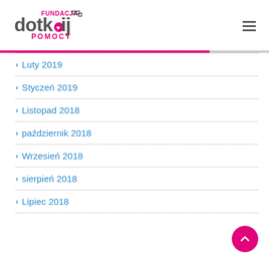[Figure (logo): Fundacja Dotknij Pomocy logo — stylized 'dotknij' text with a heart hand icon, 'FUNDACJA' and 'POMOCY' text in pink/magenta]
Luty 2019
Styczeń 2019
Listopad 2018
październik 2018
Wrzesień 2018
sierpień 2018
Lipiec 2018